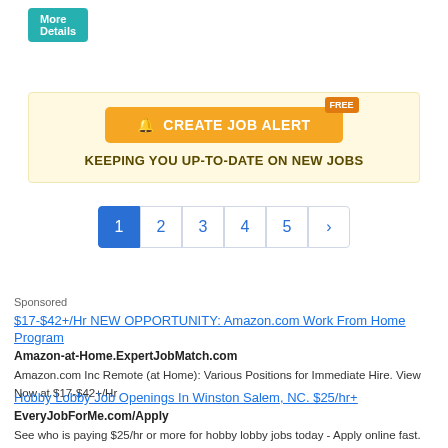[Figure (other): More Details teal button at top left]
[Figure (infographic): Create Job Alert banner with orange button, FREE badge, and text KEEPING YOU UP-TO-DATE ON NEW JOBS]
[Figure (other): Pagination bar with pages 1 (active, blue), 2, 3, 4, 5, and next arrow]
Sponsored
$17-$42+/Hr NEW OPPORTUNITY: Amazon.com Work From Home Program
Amazon-at-Home.ExpertJobMatch.com
Amazon.com Inc Remote (at Home): Various Positions for Immediate Hire. View Now at $17-$42+/Hr
Hobby Lobby Job Openings In Winston Salem, NC. $25/hr+
EveryJobForMe.com/Apply
See who is paying $25/hr or more for hobby lobby jobs today - Apply online fast.